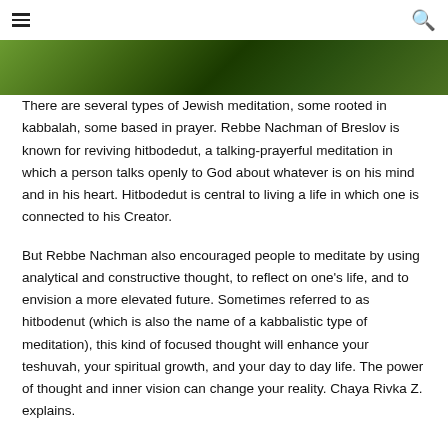≡  🔍
[Figure (photo): A horizontal green/nature image strip partially visible at top of page]
There are several types of Jewish meditation, some rooted in kabbalah, some based in prayer. Rebbe Nachman of Breslov is known for reviving hitbodedut, a talking-prayerful meditation in which a person talks openly to God about whatever is on his mind and in his heart. Hitbodedut is central to living a life in which one is connected to his Creator.
But Rebbe Nachman also encouraged people to meditate by using analytical and constructive thought, to reflect on one's life, and to envision a more elevated future. Sometimes referred to as hitbodenut (which is also the name of a kabbalistic type of meditation), this kind of focused thought will enhance your teshuvah, your spiritual growth, and your day to day life. The power of thought and inner vision can change your reality. Chaya Rivka Z. explains.